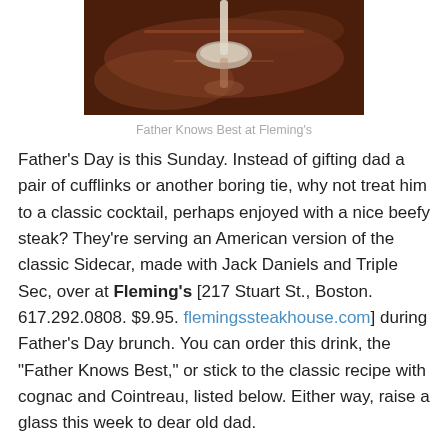[Figure (photo): A cocktail glass photographed from above on a copper/brown reflective bar surface, dark ambiance]
Father Knows Best at Fleming's
Father's Day is this Sunday. Instead of gifting dad a pair of cufflinks or another boring tie, why not treat him to a classic cocktail, perhaps enjoyed with a nice beefy steak? They're serving an American version of the classic Sidecar, made with Jack Daniels and Triple Sec, over at Fleming's [217 Stuart St., Boston. 617.292.0808. $9.95. flemingssteakhouse.com] during Father's Day brunch. You can order this drink, the "Father Knows Best," or stick to the classic recipe with cognac and Cointreau, listed below. Either way, raise a glass this week to dear old dad.